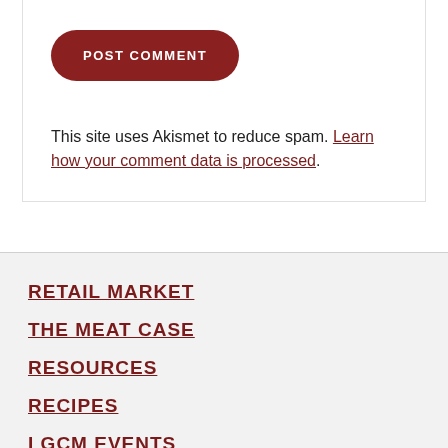POST COMMENT
This site uses Akismet to reduce spam. Learn how your comment data is processed.
RETAIL MARKET
THE MEAT CASE
RESOURCES
RECIPES
LGCM EVENTS